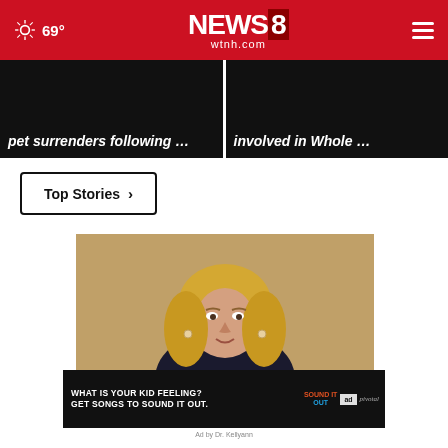69° NEWS8 wtnh.com
[Figure (screenshot): Two dark news card thumbnails side by side. Left card text: 'pet surrenders following …'. Right card text: 'involved in Whole …']
Top Stories ›
[Figure (photo): Video thumbnail of a blonde woman in a dark jacket seated in front of a golden/warm background, apparently being interviewed.]
[Figure (screenshot): Advertisement banner: 'WHAT IS YOUR KID FEELING? GET SONGS TO SOUND IT OUT.' with Sound It Out and Ad Council/Pivotal logos.]